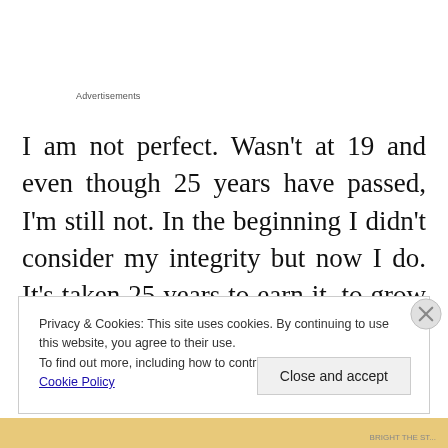Advertisements
I am not perfect. Wasn’t at 19 and even though 25 years have passed, I’m still not. In the beginning I didn’t consider my integrity but now I do. It’s taken 25 years to earn it, to grow it as a layer. I have become aware how some foolish moments could
Privacy & Cookies: This site uses cookies. By continuing to use this website, you agree to their use.
To find out more, including how to control cookies, see here: Cookie Policy
Close and accept